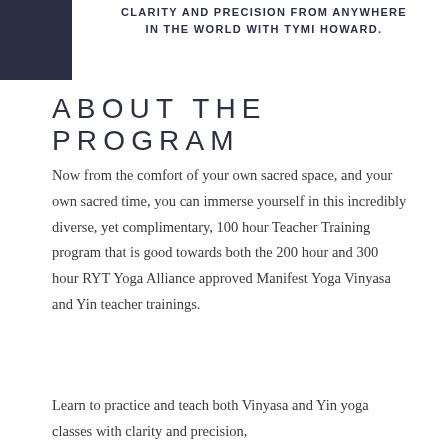CLARITY AND PRECISION FROM ANYWHERE IN THE WORLD WITH TYMI HOWARD.
ABOUT THE PROGRAM
Now from the comfort of your own sacred space, and your own sacred time, you can immerse yourself in this incredibly diverse, yet complimentary, 100 hour Teacher Training program that is good towards both the 200 hour and 300 hour RYT Yoga Alliance approved Manifest Yoga Vinyasa and Yin teacher trainings.
Learn to practice and teach both Vinyasa and Yin yoga classes with clarity and precision,